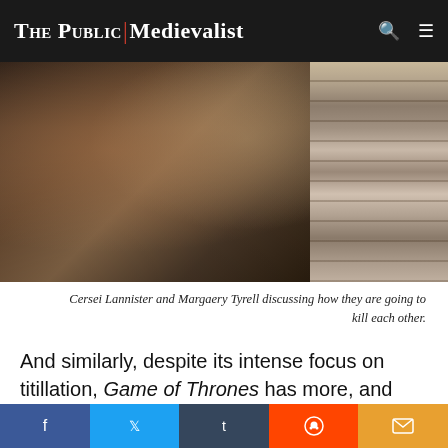The Public Medievalist
[Figure (photo): Cersei Lannister and Margaery Tyrell in ornate medieval-style gowns standing together in a palace setting with decorative marble columns on the right]
Cersei Lannister and Margaery Tyrell discussing how they are going to kill each other.
And similarly, despite its intense focus on titillation, Game of Thrones has more, and more varied and interesting female characters than I have ever seen in a fictional version of the Middle Ages. While it is
Facebook, Twitter, Tumblr, Reddit, Email social share bar